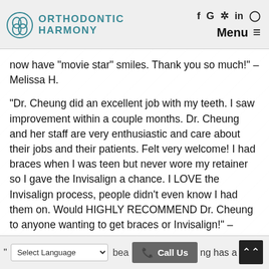ORTHODONTIC HARMONY
now have “movie star” smiles. Thank you so much!” – Melissa H.
“Dr. Cheung did an excellent job with my teeth. I saw improvement within a couple months. Dr. Cheung and her staff are very enthusiastic and care about their jobs and their patients. Felt very welcome! I had braces when I was teen but never wore my retainer so I gave the Invisalign a chance. I LOVE the Invisalign process, people didn’t even know I had them on. Would HIGHLY RECOMMEND Dr. Cheung to anyone wanting to get braces or Invisalign!” – Kaitlyn D.
Select Language  |  Call Us